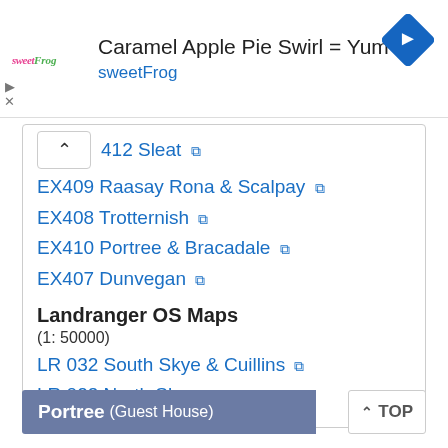[Figure (logo): sweetFrog logo — pink/green text logo]
Caramel Apple Pie Swirl = Yum
sweetFrog
[Figure (other): Blue diamond navigation/directions icon]
412 Sleat
EX409 Raasay Rona & Scalpay
EX408 Trotternish
EX410 Portree & Bracadale
EX407 Dunvegan
Landranger OS Maps
(1: 50000)
LR 032 South Skye & Cuillins
LR 023 North Skye
Portree (Guest House)
TOP